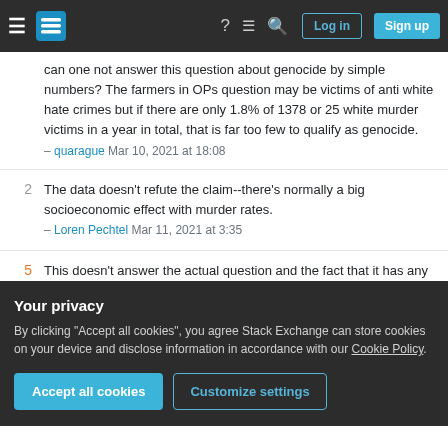Stack Exchange navigation bar with hamburger menu, logo, help, chat, search icons, Log in and Sign up buttons
can one not answer this question about genocide by simple numbers? The farmers in OPs question may be victims of anti white hate crimes but if there are only 1.8% of 1378 or 25 white murder victims in a year in total, that is far too few to qualify as genocide. – quarague Mar 10, 2021 at 18:08
2 The data doesn't refute the claim--there's normally a big socioeconomic effect with murder rates. – Loren Pechtel Mar 11, 2021 at 3:35
5 This doesn't answer the actual question and the fact that it has any upvotes makes me despair about the ability of site users to assess evidence and statistics. – DrMcCleod Mar 11, 2021 at 11:17
Your privacy
By clicking "Accept all cookies", you agree Stack Exchange can store cookies on your device and disclose information in accordance with our Cookie Policy.
Accept all cookies | Customize settings